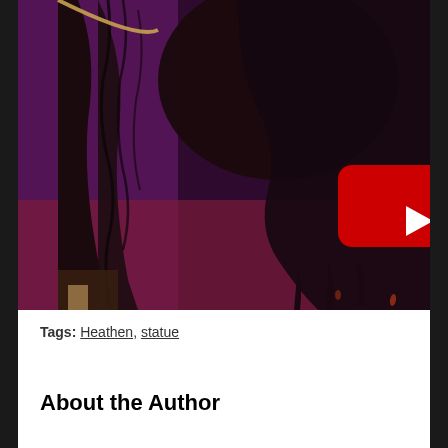[Figure (screenshot): A dark-toned illustrated image showing a figure with flowing dark hair/robes against a purple/burgundy background, with a YouTube play button overlay in the center.]
Tags: Heathen, statue
About the Author